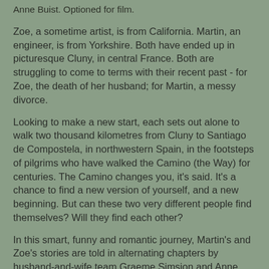Anne Buist. Optioned for film.
Zoe, a sometime artist, is from California. Martin, an engineer, is from Yorkshire. Both have ended up in picturesque Cluny, in central France. Both are struggling to come to terms with their recent past - for Zoe, the death of her husband; for Martin, a messy divorce.
Looking to make a new start, each sets out alone to walk two thousand kilometres from Cluny to Santiago de Compostela, in northwestern Spain, in the footsteps of pilgrims who have walked the Camino (the Way) for centuries. The Camino changes you, it's said. It's a chance to find a new version of yourself, and a new beginning. But can these two very different people find themselves? Will they find each other?
In this smart, funny and romantic journey, Martin's and Zoe's stories are told in alternating chapters by husband-and-wife team Graeme Simsion and Anne Buist.Two Steps Forward is a novel about renewal - physical, psychological and spiritual. It's about the challenge of walking a long distance and of working out where you are going. And it's about what you decide to leave and what you take back, and in the end, about...